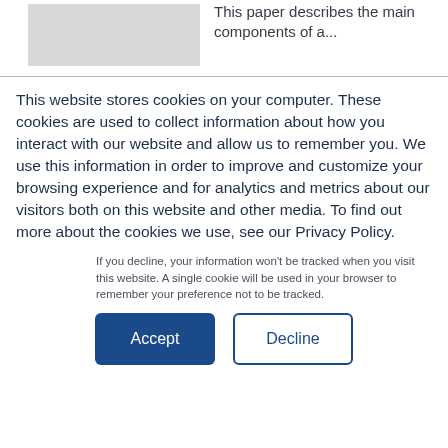[Figure (illustration): Gray placeholder image thumbnail on the left side of the top section]
This paper describes the main components of a...
This website stores cookies on your computer. These cookies are used to collect information about how you interact with our website and allow us to remember you. We use this information in order to improve and customize your browsing experience and for analytics and metrics about our visitors both on this website and other media. To find out more about the cookies we use, see our Privacy Policy.
If you decline, your information won't be tracked when you visit this website. A single cookie will be used in your browser to remember your preference not to be tracked.
Accept
Decline